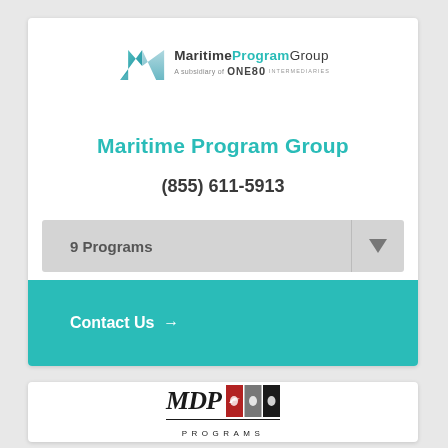[Figure (logo): Maritime Program Group logo with teal M icon and 'A subsidiary of ONE80 INTERMEDIARIES' tagline]
Maritime Program Group
(855) 611-5913
9 Programs
Contact Us →
[Figure (logo): MDP Programs logo with stylized MDP text and three colored squares (red, gray, black) with bird icons, underlined by 'PROGRAMS' text]